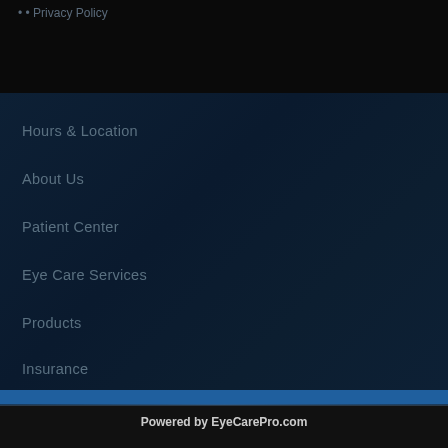Privacy Policy
Hours & Location
About Us
Patient Center
Eye Care Services
Products
Insurance
Promotions
Powered by EyeCarePro.com